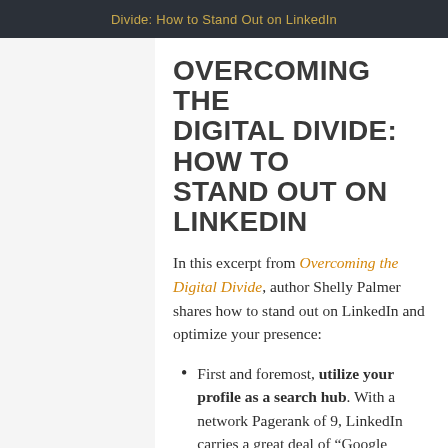Divide: How to Stand Out on LinkedIn
OVERCOMING THE DIGITAL DIVIDE: HOW TO STAND OUT ON LINKEDIN
In this excerpt from Overcoming the Digital Divide, author Shelly Palmer shares how to stand out on LinkedIn and optimize your presence:
First and foremost, utilize your profile as a search hub. With a network Pagerank of 9, LinkedIn carries a great deal of “Google juice.” In other words, it appears